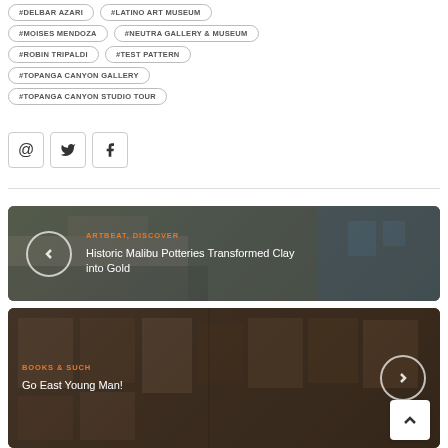#DELBAR AZARI
#LATINO ART MUSEUM
#MOISES MENDOZA
#NEUTRA GALLERY & MUSEUM
#ROBIN TRIPALDI
#TEST PATTERN
#TOPANGA CANYON GALLERY
#TOPANGA CANYON STUDIO TOUR
[Figure (infographic): Three social media icon buttons: @ (email), Twitter bird, Facebook f]
[Figure (photo): Article card with building photo, left arrow button, orange category label ARTBEAT, DISCOVER, and title Historic Malibu Potteries Transformed Clay into Gold]
[Figure (photo): Article card with gallery photo, right arrow button, orange category label BOOKS & SUCH, and title Go East Young Man!]